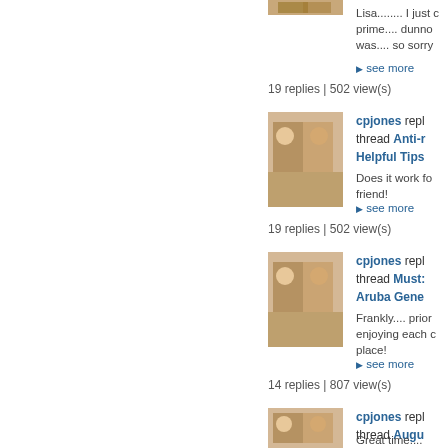[Figure (photo): Profile avatar photo showing two people sitting at a table]
Lisa........ I just c prime.... dunno was.... so sorry
see more
19 replies | 502 view(s)
[Figure (photo): Profile avatar photo showing two people sitting at a table]
cpjones repl thread Anti-r Helpful Tips
Does it work fo friend!
see more
19 replies | 502 view(s)
[Figure (photo): Profile avatar photo showing two people sitting at a table]
cpjones repl thread Must: Aruba Gene
Frankly.... prior enjoying each c place!
see more
14 replies | 807 view(s)
[Figure (photo): Profile avatar photo showing two people sitting at a table]
cpjones repl thread Augu My Aruba St
Great time....